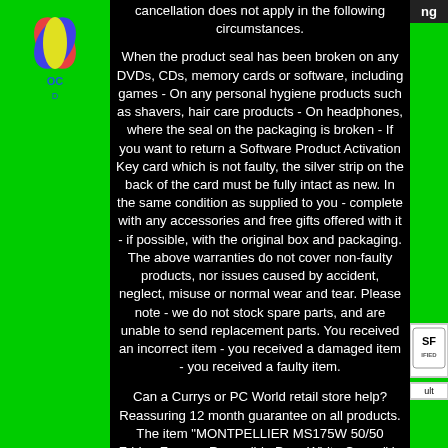[Figure (logo): Currys/Dixons flame logo with stylized text below]
cancellation does not apply in the following circumstances.
When the product seal has been broken on any DVDs, CDs, memory cards or software, including games - On any personal hygiene products such as shavers, hair care products - On headphones, where the seal on the packaging is broken - If you want to return a Software Product Activation Key card which is not faulty, the silver strip on the back of the card must be fully intact as new. In the same condition as supplied to you - complete with any accessories and free gifts offered with it - if possible, with the original box and packaging. The above warranties do not cover non-faulty products, nor issues caused by accident, neglect, misuse or normal wear and tear. Please note - we do not stock spare parts, and are unable to send replacement parts. You received an incorrect item - you received a damaged item - you received a faulty item.
Can a Currys or PC World retail store help? Reassuring 12 month guarantee on all products. The item "MONTPELLIER MS175W 50/50 Fridge Freezer Reversible Door White Currys" is in sale since Thursday, December 10, 2020. This item is in the category "Home, Furniture & DIY\Appliances\Fridges